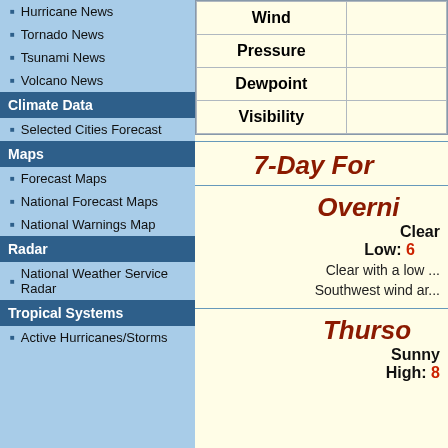Hurricane News
Tornado News
Tsunami News
Volcano News
Climate Data
Selected Cities Forecast
Maps
Forecast Maps
National Forecast Maps
National Warnings Map
Radar
National Weather Service Radar
Tropical Systems
Active Hurricanes/Storms
| Wind |  |
| --- | --- |
| Pressure |  |
| Dewpoint |  |
| Visibility |  |
7-Day Forecast
Overnight
Clear
Low: 6...
Clear with a low...
Southwest wind ar...
Thursday
Sunny
High: 8...